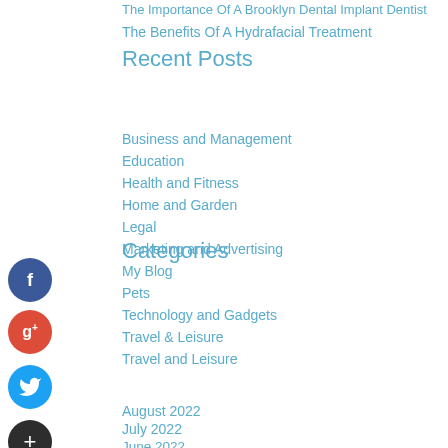The Importance Of A Brooklyn Dental Implant Dentist
The Benefits Of A Hydrafacial Treatment
Recent Posts
Business and Management
Education
Health and Fitness
Home and Garden
Legal
Categories
Marketing and Advertising
My Blog
Pets
Technology and Gadgets
Travel & Leisure
Travel and Leisure
August 2022
July 2022
June 2022
May 2022